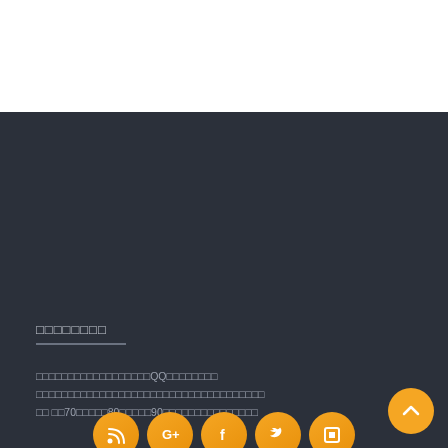□□□□□□□□
□□□□□□□□□□□□□□□□□□QQ□□□□□□□□ □□□□□□□□□□□□□□□□□□□□□□□□□□□□□□□□□□□□ □□70□□□□□80□□□□□90□□□□□□□□□□□□□□□
□□□□□□□□
[Figure (illustration): Row of orange circular social media icons (RSS, Google+, Facebook, Twitter, and one more) partially visible at bottom, plus an orange circular back-to-top arrow button on the right]